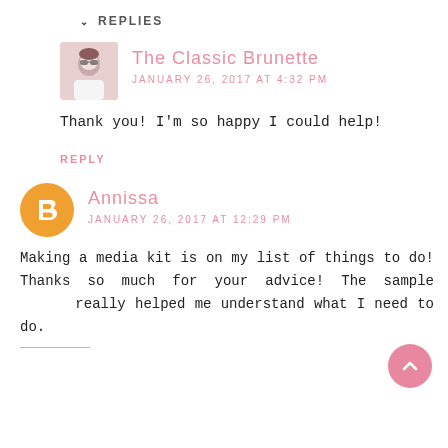▾ REPLIES
[Figure (photo): Avatar photo of The Classic Brunette blogger — woman with sunglasses, white top]
The Classic Brunette
JANUARY 26, 2017 AT 4:32 PM
Thank you! I'm so happy I could help!
REPLY
[Figure (logo): Blogger 'B' logo orange circle avatar for Annissa]
Annissa
JANUARY 26, 2017 AT 12:29 PM
Making a media kit is on my list of things to do! Thanks so much for your advice! The sample really helped me understand what I need to do.